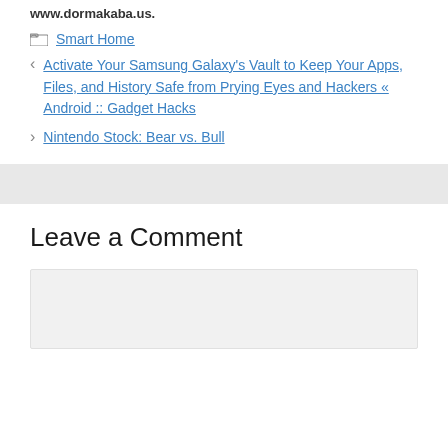www.dormakaba.us.
Smart Home
Activate Your Samsung Galaxy's Vault to Keep Your Apps, Files, and History Safe from Prying Eyes and Hackers « Android :: Gadget Hacks
Nintendo Stock: Bear vs. Bull
Leave a Comment
[Figure (other): Comment text input box (empty, light gray background)]